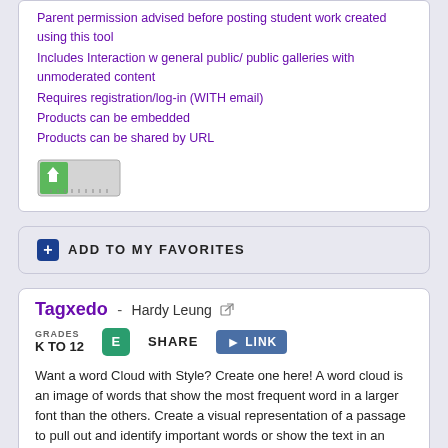Parent permission advised before posting student work created using this tool
Includes Interaction w general public/ public galleries with unmoderated content
Requires registration/log-in (WITH email)
Products can be embedded
Products can be shared by URL
[Figure (other): A green and grey rating/meter bar graphic]
ADD TO MY FAVORITES
Tagxedo - Hardy Leung
GRADES K TO 12
SHARE   LINK
Want a word Cloud with Style? Create one here! A word cloud is an image of words that show the most frequent word in a larger font than the others. Create a visual representation of a passage to pull out and identify important words or show the text in an interactive, visually appealing way. The resulting cloud pops out the words as you roll over them, so viewers can "see" each word